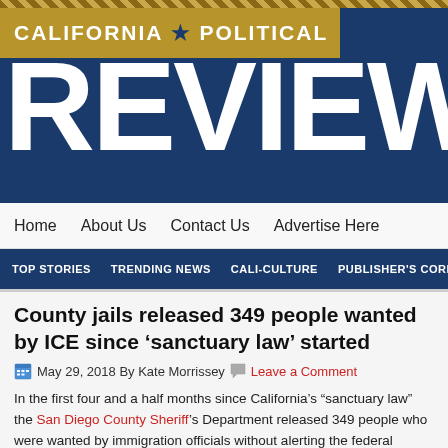[Figure (logo): California Political Review masthead logo with gold bar reading 'CALIFORNIA POLITICAL' and large white 'REVIEW' text on dark blue background]
Home   About Us   Contact Us   Advertise Here
TOP STORIES   TRENDING NEWS   CALI-CULTURE   PUBLISHER'S CORNER
County jails released 349 people wanted by ICE since 'sanctuary law' started
May 29, 2018 By Kate Morrissey   Leave a Comment
In the first four and a half months since California's "sanctuary law" the San Diego County Sheriff's Department released 349 people who were wanted by immigration officials without alerting the federal agency responsible for deportation.
That's a little over half of the 605 people the agency requested, according to data for the Sheriff's Department.
The 305 people that immigration and Customs Enforcement...